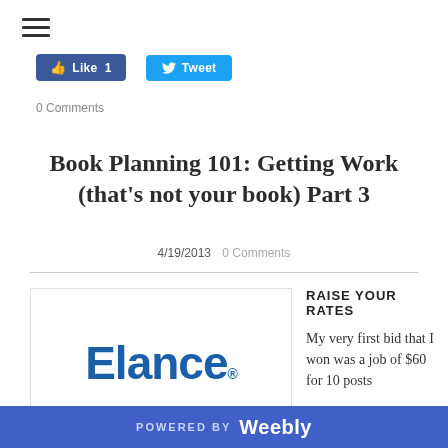[Figure (other): Hamburger menu icon (three horizontal lines)]
[Figure (other): Facebook Like button with count 1 and Twitter Tweet button]
0 Comments
Book Planning 101: Getting Work (that's not your book) Part 3
4/19/2013  0 Comments
[Figure (logo): Elance logo — blue wordmark with registered trademark symbol]
RAISE YOUR RATES
My very first bid that I won was a job of $60 for 10 posts
POWERED BY Weebly